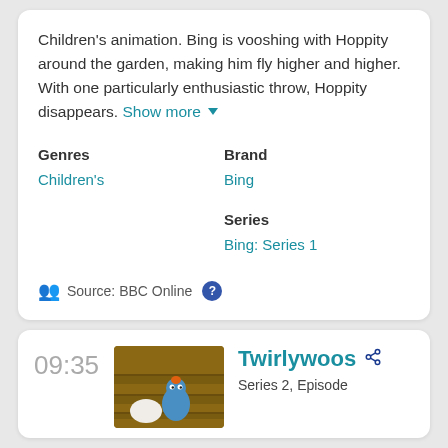Children's animation. Bing is vooshing with Hoppity around the garden, making him fly higher and higher. With one particularly enthusiastic throw, Hoppity disappears. Show more ▼
Genres
Children's
Brand
Bing
Series
Bing: Series 1
Source: BBC Online ?
09:35
[Figure (photo): Thumbnail image showing a blue cartoon bird character (Twirlywoos) on wooden stairs]
Twirlywoos
Series 2, Episode